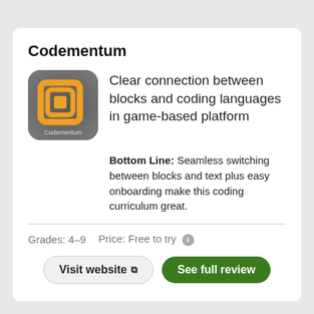Codementum
[Figure (logo): Codementum app logo: dark grey rounded square background with orange nested square bracket icon and 'Codementum' text below]
Clear connection between blocks and coding languages in game-based platform
Bottom Line: Seamless switching between blocks and text plus easy onboarding make this coding curriculum great.
Grades: 4–9   Price: Free to try
Visit website
See full review